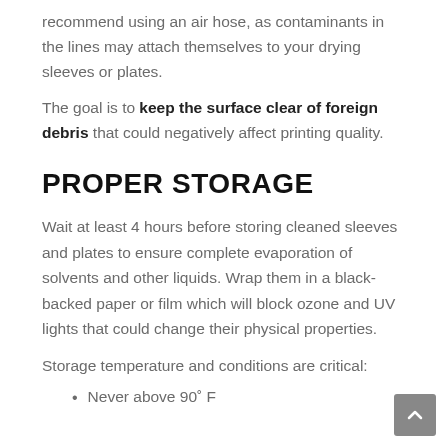recommend using an air hose, as contaminants in the lines may attach themselves to your drying sleeves or plates.
The goal is to keep the surface clear of foreign debris that could negatively affect printing quality.
PROPER STORAGE
Wait at least 4 hours before storing cleaned sleeves and plates to ensure complete evaporation of solvents and other liquids. Wrap them in a black-backed paper or film which will block ozone and UV lights that could change their physical properties.
Storage temperature and conditions are critical:
Never above 90˚ F